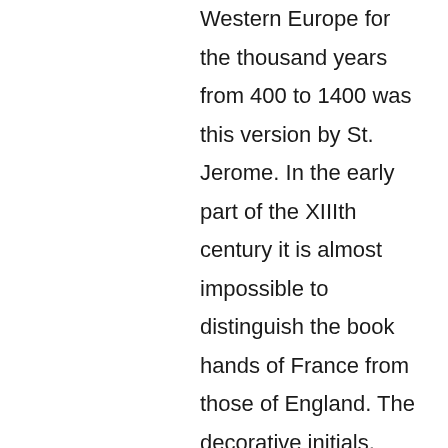Western Europe for the thousand years from 400 to 1400 was this version by St. Jerome. In the early part of the XIIIth century it is almost impossible to distinguish the book hands of France from those of England. The decorative initials, color of ink, and texture of vellum are the clues which aid in assigning provenance, as in this instance. Not many fragments of this age and size are known to have survived the destruction